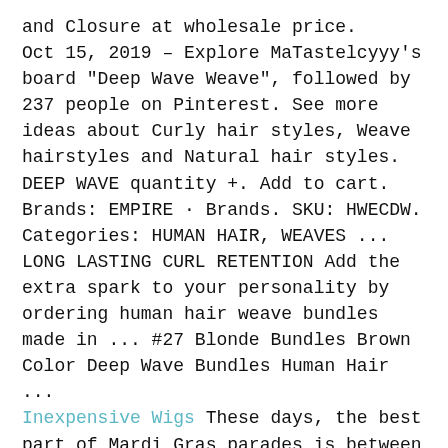and Closure at wholesale price.
Oct 15, 2019 – Explore MaTastelcyyy's board "Deep Wave Weave", followed by 237 people on Pinterest. See more ideas about Curly hair styles, Weave hairstyles and Natural hair styles.
DEEP WAVE quantity +. Add to cart. Brands: EMPIRE · Brands. SKU: HWECDW. Categories: HUMAN HAIR, WEAVES ... LONG LASTING CURL RETENTION Add the extra spark to your personality by ordering human hair weave bundles made in ... #27 Blonde Bundles Brown Color Deep Wave Bundles Human Hair ...
Inexpensive Wigs These days, the best part of Mardi Gras parades is between the floats. In the past decade tongue-in-cheek dance troupes have ... Ultimate Wigs Webster Wigs is a London based wig company. We design and sell a large range of the highest quality synthetic and human hair wigs. Our synthetic wigs come in a number